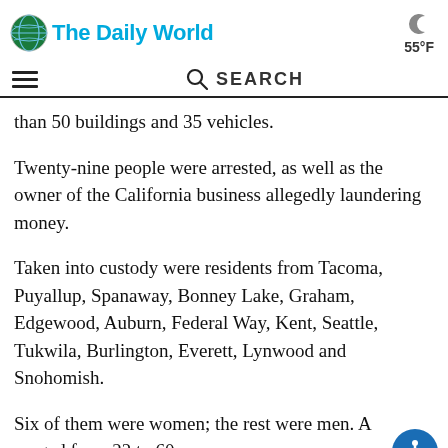The Daily World — 55°F
than 50 buildings and 35 vehicles.
Twenty-nine people were arrested, as well as the owner of the California business allegedly laundering money.
Taken into custody were residents from Tacoma, Puyallup, Spanaway, Bonney Lake, Graham, Edgewood, Auburn, Federal Way, Kent, Seattle, Tukwila, Burlington, Everett, Lynwood and Snohomish.
Six of them were women; the rest were men. Ages ranged from 22 to 60.